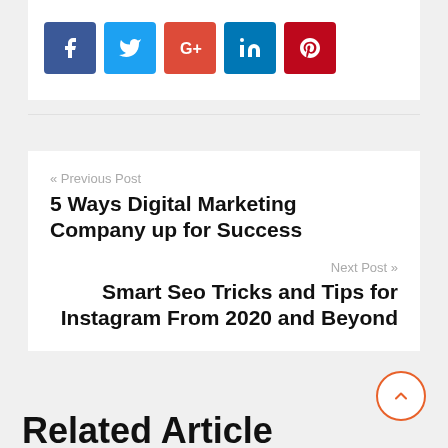[Figure (infographic): Social sharing buttons: Facebook (dark blue), Twitter (light blue), Google+ (red-orange), LinkedIn (blue), Pinterest (dark red)]
« Previous Post
5 Ways Digital Marketing Company up for Success
Next Post »
Smart Seo Tricks and Tips for Instagram From 2020 and Beyond
Related Article